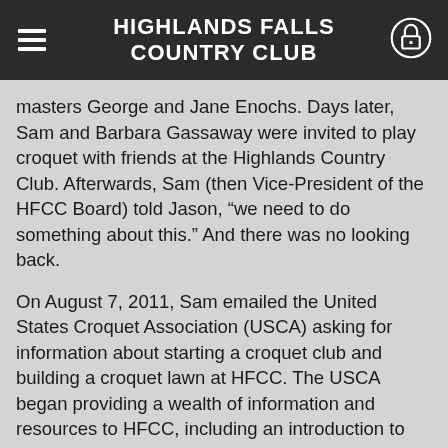HIGHLANDS FALLS COUNTRY CLUB
masters George and Jane Enochs.  Days later, Sam and Barbara Gassaway were invited to play croquet with friends at the Highlands Country Club.  Afterwards, Sam (then Vice-President of the HFCC Board) told Jason, “we need to do something about this.”   And there was no looking back.
On August 7, 2011, Sam emailed the United States Croquet Association (USCA) asking for information about starting a croquet club and building a croquet lawn at HFCC.  The USCA began providing a wealth of information and resources to HFCC, including an introduction to Andy Short, USCA’s North Carolina District representative.  USCA’s National President, Eugene Young, also sent an email welcoming HFCC to the world of croquet and extending the invitation to a grand exhibition of the game of golf croquet taking place at Lake Toxaway’s croquet club in September of